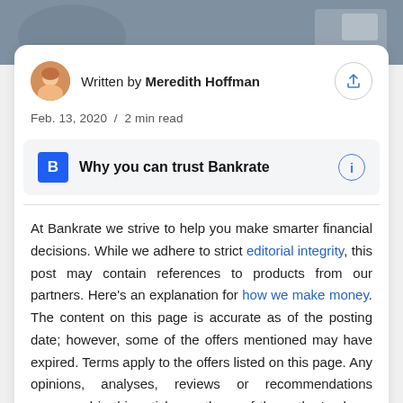[Figure (photo): Partial photo strip at top of page showing blurred background scene]
Written by Meredith Hoffman
Feb. 13, 2020  /  2 min read
Why you can trust Bankrate
At Bankrate we strive to help you make smarter financial decisions. While we adhere to strict editorial integrity, this post may contain references to products from our partners. Here's an explanation for how we make money. The content on this page is accurate as of the posting date; however, some of the offers mentioned may have expired. Terms apply to the offers listed on this page. Any opinions, analyses, reviews or recommendations expressed in this article are those of the author's alone, and have not been reviewed, approved or otherwise endorsed by any